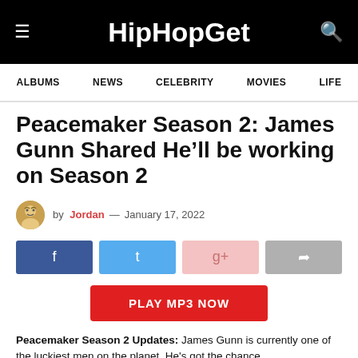HipHopGet
ALBUMS  NEWS  CELEBRITY  MOVIES  LIFE
Peacemaker Season 2: James Gunn Shared He’ll be working on Season 2
by Jordan — January 17, 2022
Peacemaker Season 2 Updates: James Gunn is currently one of the luckiest men on the planet. He's got the chance